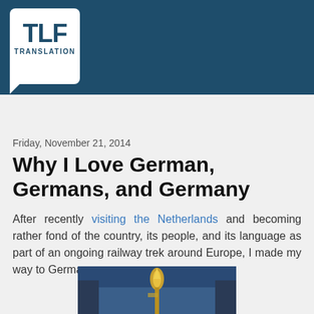[Figure (logo): TLF Translation logo — white speech bubble box with TLF in large bold dark blue text and TRANSLATION below in small caps, on a dark teal/navy background banner]
Home
Friday, November 21, 2014
Why I Love German, Germans, and Germany
After recently visiting the Netherlands and becoming rather fond of the country, its people, and its language as part of an ongoing railway trek around Europe, I made my way to Germany.
[Figure (photo): Partial photo of a building ornament or statue with gold detail against a blue sky, cut off at the bottom of the page]